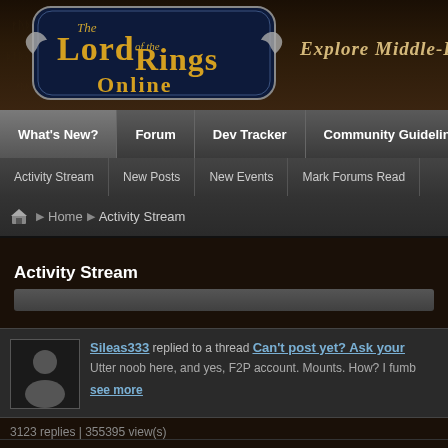[Figure (logo): Lord of the Rings Online game logo with golden text on dark blue ornate background with silver wing decorations]
Explore Middle-Earth
What's New? | Forum | Dev Tracker | Community Guidelines
Activity Stream | New Posts | New Events | Mark Forums Read
Home ► Activity Stream
Activity Stream
Sileas333 replied to a thread Can't post yet? Ask your...
Utter noob here, and yes, F2P account. Mounts. How? I fumb...
see more
3123 replies | 355395 view(s)